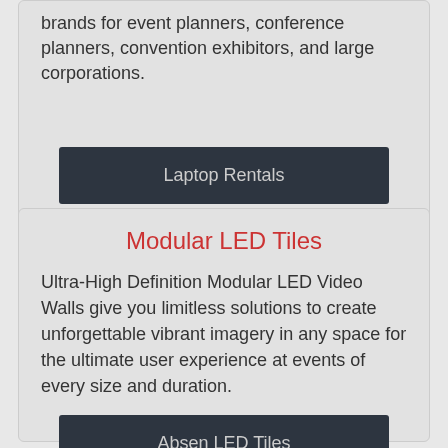brands for event planners, conference planners, convention exhibitors, and large corporations.
Laptop Rentals
Modular LED Tiles
Ultra-High Definition Modular LED Video Walls give you limitless solutions to create unforgettable vibrant imagery in any space for the ultimate user experience at events of every size and duration.
Absen LED Tiles